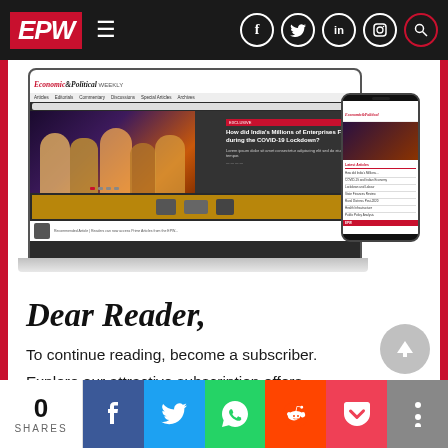EPW Economic & Political Weekly — navigation header with social icons
[Figure (screenshot): Screenshot of the EPW (Economic & Political Weekly) website shown on a laptop and mobile phone, displaying the website homepage with navigation, hero image of people, article headline, and advertisements]
Dear Reader,
To continue reading, become a subscriber.
Explore our attractive subscription offers.
CLICK HERE
0 SHARES — social share buttons: Facebook, Twitter, WhatsApp, Reddit, Pocket, More